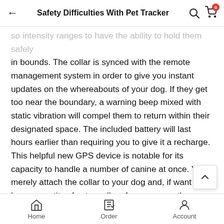Safety Difficulties With Pet Tracker
so intensity ranges to have the ability to hold them safely in bounds. The collar is synced with the remote management system in order to give you instant updates on the whereabouts of your dog. If they get too near the boundary, a warning beep mixed with static vibration will compel them to return within their designated space. The included battery will last hours earlier than requiring you to give it a recharge. This helpful new GPS device is notable for its capacity to handle a number of canine at once. You merely attach the collar to your dog and, if want be, buy a quantity of extra collars for as many other canine as you want to include.
A absolutely rechargeable lithium-ion battery is includ for handy operation. Besides, you ought to use the dis control as a receiver and as a battery charger for the GPS
Home   Order   Account